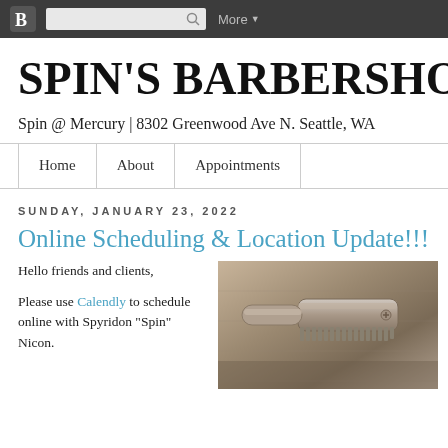Blogger navigation bar with search and More menu
SPIN'S BARBERSHOP
Spin @ Mercury | 8302 Greenwood Ave N. Seattle, WA
Home | About | Appointments
SUNDAY, JANUARY 23, 2022
Online Scheduling & Location Update!!!
Hello friends and clients,

Please use Calendly to schedule online with Spyridon "Spin" Nicon.
[Figure (photo): Close-up sepia/grayscale photo of barber tools — a clipper or razor on a textured surface]